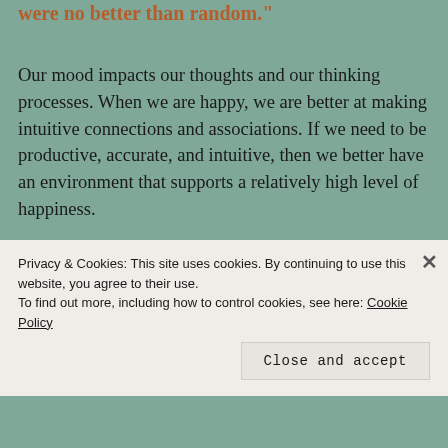were no better than random."
Our mood impacts our thoughts and our thinking processes. When we are happy, we are better at making intuitive connections and associations. If we need to be productive, accurate, and intuitive, then we better have an environment that supports a relatively high level of happiness.
If our work environment does the opposite, if we are overwhelmed by stress and must deal with toxic culture is more than it is likely that we will be less accurate with
Privacy & Cookies: This site uses cookies. By continuing to use this website, you agree to their use.
To find out more, including how to control cookies, see here: Cookie Policy
Close and accept